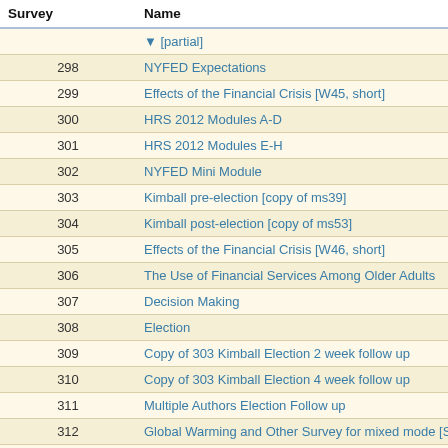| Survey | Name |
| --- | --- |
| 298 | NYFED Expectations |
| 299 | Effects of the Financial Crisis [W45, short] |
| 300 | HRS 2012 Modules A-D |
| 301 | HRS 2012 Modules E-H |
| 302 | NYFED Mini Module |
| 303 | Kimball pre-election [copy of ms39] |
| 304 | Kimball post-election [copy of ms53] |
| 305 | Effects of the Financial Crisis [W46, short] |
| 306 | The Use of Financial Services Among Older Adults |
| 307 | Decision Making |
| 308 | Election |
| 309 | Copy of 303 Kimball Election 2 week follow up |
| 310 | Copy of 303 Kimball Election 4 week follow up |
| 311 | Multiple Authors Election Follow up |
| 312 | Global Warming and Other Survey for mixed mode [Sampl… |
| 313 | Snowball Test of Election Scenarios [copy of ms311] |
| 314 | Scenarios [A] |
| 315 | Decision Quality [Composite 1] |
| 316 | NYFED Mini Module |